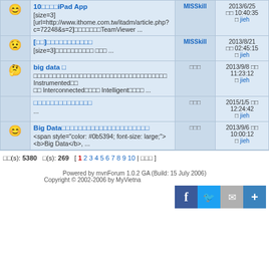|  | Topic | Author | Date |
| --- | --- | --- | --- |
| 😊 | 10□□□□iPad App
[size=3]
[url=http://www.ithome.com.tw/itadm/article.php?c=72248&s=2]□□□□□□□TeamViewer ... | MISSkill | 2013/6/25 □□ 10:40:35 □ jieh |
| 😟 | [□□]□□□□□□□□□□□
[size=3]□□□□□□□□□□ □□□ ... | MISSkill | 2013/8/21 □□ 02:45:15 □ jieh |
| 🤔 | big data □
□□□□□□□□□□□□□□□□□□□□□□□□□□□□□□□□□□ Instrumented□□ □□ Interconnected□□□□ Intelligent□□□□ ... | □□□ | 2013/9/8 □□ 11:23:12 □ jieh |
|  | □□□□□□□□□□□□□□
... | □□□ | 2015/1/5 □□ 12:24:42 □ jieh |
| 😊 | Big Data□□□□□□□□□□□□□□□□□□□□□
<span style="color: #0b5394; font-size: large;"><b>Big Data</b>, ... | □□□ | 2013/9/6 □□ 10:00:12 □ jieh |
□□(s): 5380   □(s): 269   [ 1 2 3 4 5 6 7 8 9 10 | □□□ ]
Powered by mvnForum 1.0.2 GA (Build: 15 July 2006)
Copyright © 2002-2006 by MyVietna...